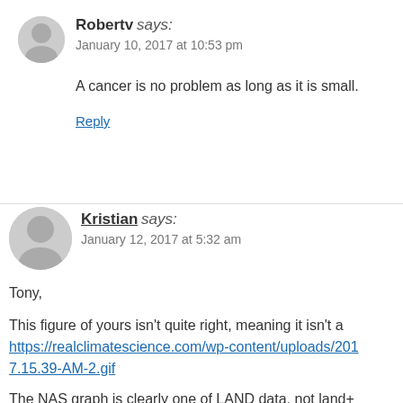Robertv says: January 10, 2017 at 10:53 pm
A cancer is no problem as long as it is small.
Reply
Kristian says: January 12, 2017 at 5:32 am
Tony,
This figure of yours isn't quite right, meaning it isn't a https://realclimatescience.com/wp-content/uploads/201 7.15.39-AM-2.gif
The NAS graph is clearly one of LAND data, not land+ recent temperature product).